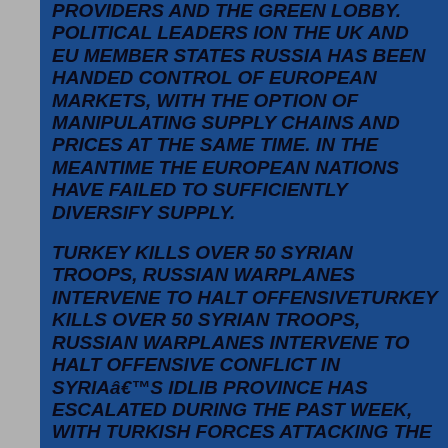PROVIDERS AND THE GREEN LOBBY. POLITICAL LEADERS ION THE UK AND EU MEMBER STATES RUSSIA HAS BEEN HANDED CONTROL OF EUROPEAN MARKETS, WITH THE OPTION OF MANIPULATING SUPPLY CHAINS AND PRICES AT THE SAME TIME. IN THE MEANTIME THE EUROPEAN NATIONS HAVE FAILED TO SUFFICIENTLY DIVERSIFY SUPPLY.
TURKEY KILLS OVER 50 SYRIAN TROOPS, RUSSIAN WARPLANES INTERVENE TO HALT OFFENSIVETURKEY KILLS OVER 50 SYRIAN TROOPS, RUSSIAN WARPLANES INTERVENE TO HALT OFFENSIVE CONFLICT IN SYRIAâ€™S IDLIB PROVINCE HAS ESCALATED DURING THE PAST WEEK, WITH TURKISH FORCES ATTACKING THE